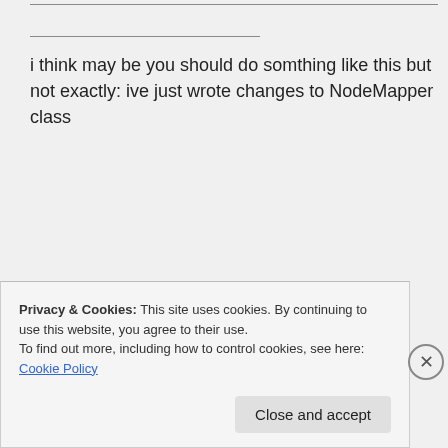i think may be you should do somthing like this but not exactly: ive just wrote changes to NodeMapper class
public class NodeMapper
{
//becaus of static method i pas these from my domain logic class:
Privacy & Cookies: This site uses cookies. By continuing to use this website, you agree to their use.
To find out more, including how to control cookies, see here: Cookie Policy